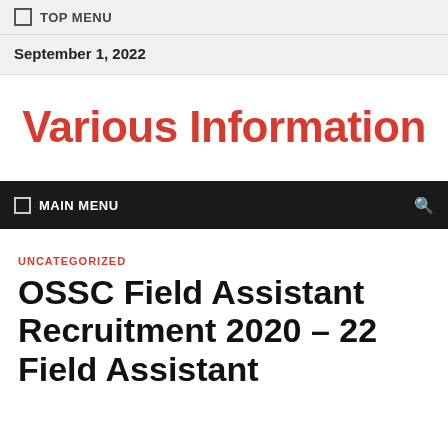TOP MENU
September 1, 2022
Various Information
MAIN MENU
UNCATEGORIZED
OSSC Field Assistant Recruitment 2020 – 22 Field Assistant